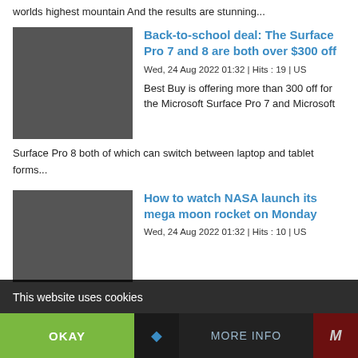worlds highest mountain And the results are stunning...
Back-to-school deal: The Surface Pro 7 and 8 are both over $300 off
Wed, 24 Aug 2022 01:32 | Hits : 19 | US
Best Buy is offering more than 300 off for the Microsoft Surface Pro 7 and Microsoft Surface Pro 8 both of which can switch between laptop and tablet forms...
How to watch NASA launch its mega moon rocket on Monday
Wed, 24 Aug 2022 01:32 | Hits : 10 | US
This website uses cookies
OKAY
MORE INFO